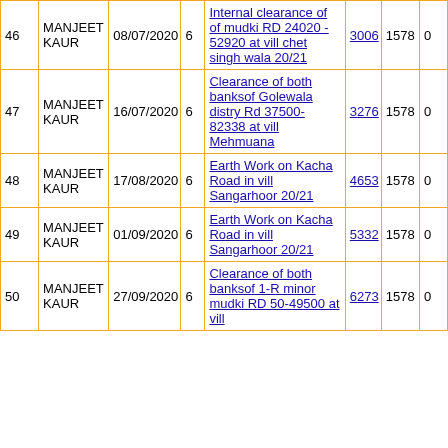| # | Name | Date | Ward | Work Description | MB | Amount | Penalty |
| --- | --- | --- | --- | --- | --- | --- | --- |
| 46 | MANJEET KAUR | 08/07/2020 | 6 | Internal clearance of of mudki RD 24020 - 52920 at vill chet singh wala 20/21 | 3006 | 1578 | 0 |
| 47 | MANJEET KAUR | 16/07/2020 | 6 | Clearance of both banksof Golewala distry Rd 37500-82338 at vill Mehmuana | 3276 | 1578 | 0 |
| 48 | MANJEET KAUR | 17/08/2020 | 6 | Earth Work on Kacha Road in vill Sangarhoor 20/21 | 4653 | 1578 | 0 |
| 49 | MANJEET KAUR | 01/09/2020 | 6 | Earth Work on Kacha Road in vill Sangarhoor 20/21 | 5332 | 1578 | 0 |
| 50 | MANJEET KAUR | 27/09/2020 | 6 | Clearance of both banksof 1-R minor mudki RD 50-49500 at vill | 6273 | 1578 | 0 |